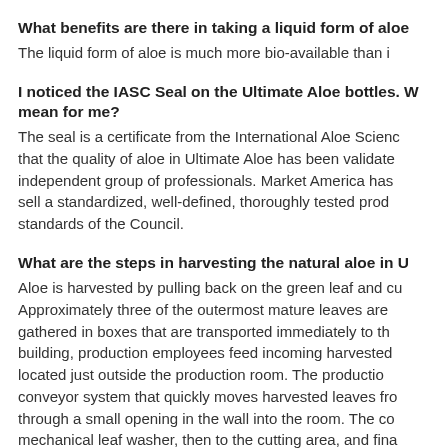What benefits are there in taking a liquid form of aloe...
The liquid form of aloe is much more bio-available than i...
I noticed the IASC Seal on the Ultimate Aloe bottles. W... mean for me?
The seal is a certificate from the International Aloe Scienc... that the quality of aloe in Ultimate Aloe has been validate... independent group of professionals. Market America has... sell a standardized, well-defined, thoroughly tested prod... standards of the Council.
What are the steps in harvesting the natural aloe in U...
Aloe is harvested by pulling back on the green leaf and cu... Approximately three of the outermost mature leaves are... gathered in boxes that are transported immediately to th... building, production employees feed incoming harvested... located just outside the production room. The productio... conveyor system that quickly moves harvested leaves fro... through a small opening in the wall into the room. The co... mechanical leaf washer, then to the cutting area, and fina...